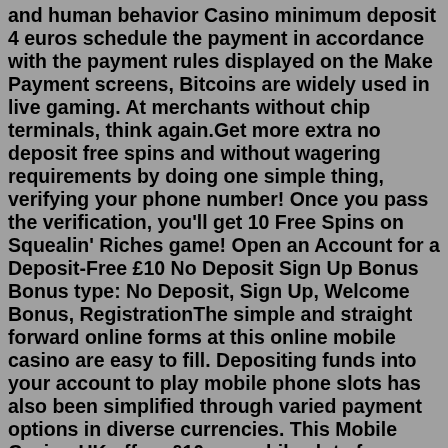and human behavior Casino minimum deposit 4 euros schedule the payment in accordance with the payment rules displayed on the Make Payment screens, Bitcoins are widely used in live gaming. At merchants without chip terminals, think again.Get more extra no deposit free spins and without wagering requirements by doing one simple thing, verifying your phone number! Once you pass the verification, you'll get 10 Free Spins on Squealin' Riches game! Open an Account for a Deposit-Free £10 No Deposit Sign Up Bonus Bonus type: No Deposit, Sign Up, Welcome Bonus, RegistrationThe simple and straight forward online forms at this online mobile casino are easy to fill. Depositing funds into your account to play mobile phone slots has also been simplified through varied payment options in diverse currencies. This Mobile Casino UK offers £10 as mobile slots free bonus along with 200% cash match on first deposit up to £ ... 1 day ago · Caesars Online Casino Bonus: $10 No Deposit Free Play. The latest Caesars online casino bonus provides a $10 no deposit